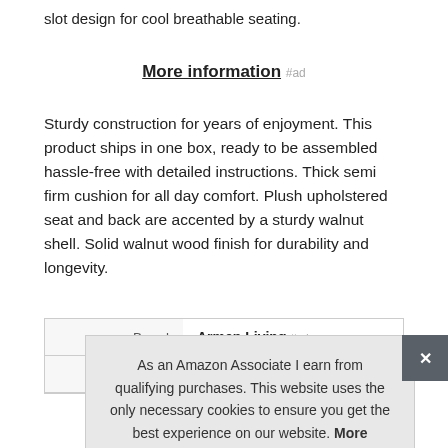slot design for cool breathable seating.
More information #ad
Sturdy construction for years of enjoyment. This product ships in one box, ready to be assembled hassle-free with detailed instructions. Thick semi firm cushion for all day comfort. Plush upholstered seat and back are accented by a sturdy walnut shell. Solid walnut wood finish for durability and longevity.
|  |  |
| --- | --- |
| Brand | Armen Living #ad |
| Manufacturer | Armen Living #ad |
As an Amazon Associate I earn from qualifying purchases. This website uses the only necessary cookies to ensure you get the best experience on our website. More information